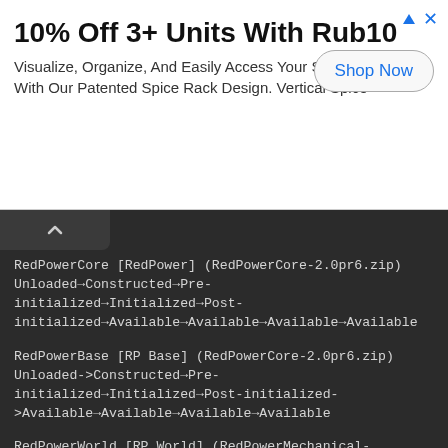[Figure (other): Advertisement banner: 10% Off 3+ Units With Rub10 promo with Shop Now button]
10% Off 3+ Units With Rub10
Visualize, Organize, And Easily Access Your Spices With Our Patented Spice Rack Design. Vertical Spice
RedPowerCore [RedPower] (RedPowerCore-2.0pr6.zip) Unloaded→Constructed→Pre-initialized→Initialized→Post-initialized→Available→Available→Available→Available
RedPowerBase [RP Base] (RedPowerCore-2.0pr6.zip) Unloaded->Constructed→Pre-initialized→Initialized→Post-initialized->Available→Available→Available→Available
RedPowerWorld [RP World] (RedPowerMechanical-2.0pr6.zip) Unloaded→Constructed→Pre-initialized→Initialized→Post-initialized→Available→Available→Available→Available
MFReloaded|CompatRP2 [MFR Compat: RP2] (MineFactoryReloaded-2.3.2-287.jar) Unloaded→Constructed->Pre-initialized→Initialized→Post-initialized→Available→Available->Available→Available
MFReloaded|CompatSoulShards [MFR Compat: Soul Shards]